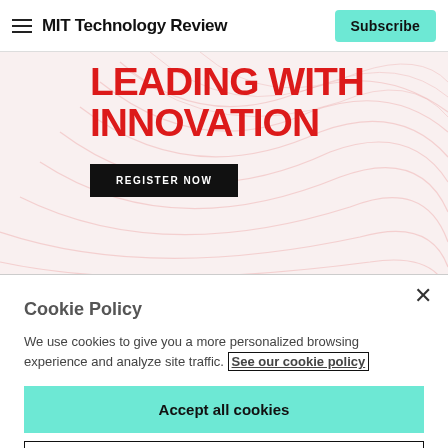MIT Technology Review | Subscribe
[Figure (illustration): Banner image with bold red text 'LEADING WITH INNOVATION' over a light pink mesh/grid graphic background, with a black 'REGISTER NOW' button]
Cookie Policy
We use cookies to give you a more personalized browsing experience and analyze site traffic. See our cookie policy
Accept all cookies
Cookies settings